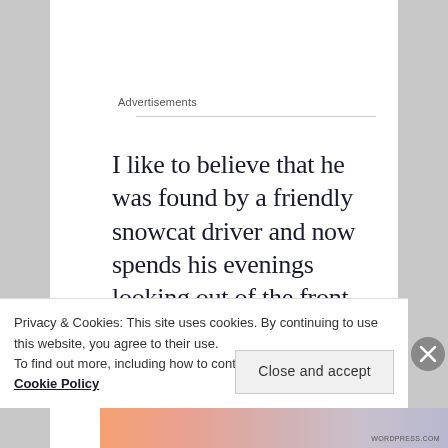Advertisements
I like to believe that he was found by a friendly snowcat driver and now spends his evenings looking out of the front of the snowcat, dreaming warm
Privacy & Cookies: This site uses cookies. By continuing to use this website, you agree to their use.
To find out more, including how to control cookies, see here: Cookie Policy
Close and accept